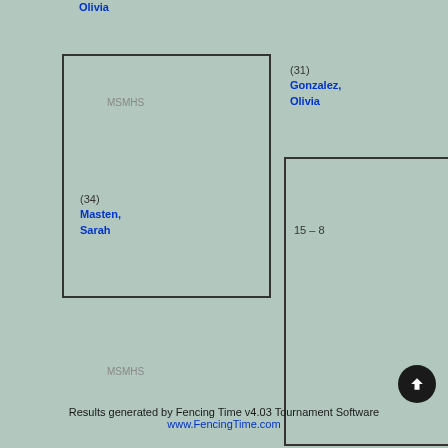[Figure (other): Tournament bracket showing fencing match results. Top section: Gonzalez, Olivia (31) from MSMHS beats Masten, Sarah (34) from MSMHS 15-8. Dianiley, Deslandes (2) from MSMHS beats BYE (63). Dianiley, Deslandes (2) wins 15-8 over Gonzalez, Olivia. Bottom section: Dianiley, Deslandes (2) from NFA advances.]
Results generated by Fencing Time v4.03 Tournament Software
www.FencingTime.com